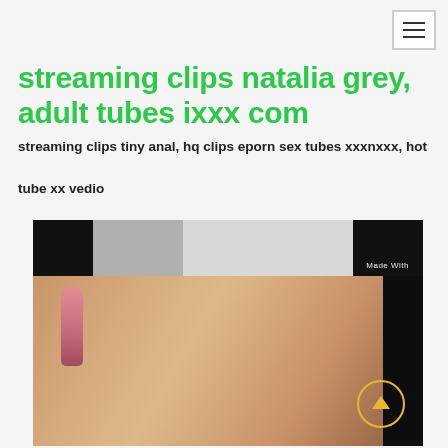[hamburger menu icon]
streaming clips natalia grey, adult tubes ixxx com
streaming clips tiny anal, hq clips eporn sex tubes xxxnxxx, hot tube xx vedio
[Figure (photo): Two video thumbnail images stacked vertically. Top strip shows a black and white close-up image with 'Made With' watermark. Bottom image shows a blurred close-up color photograph.]